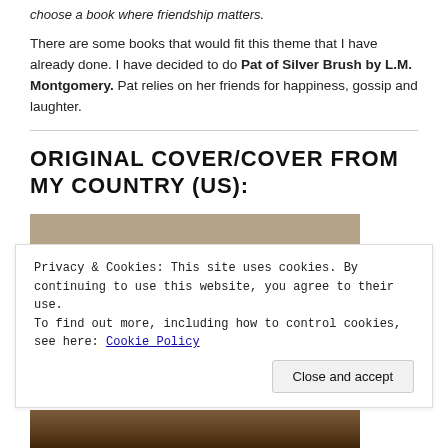choose a book where friendship matters.
There are some books that would fit this theme that I have already done. I have decided to do Pat of Silver Brush by L.M. Montgomery. Pat relies on her friends for happiness, gossip and laughter.
ORIGINAL COVER/COVER FROM MY COUNTRY (US):
[Figure (photo): Book cover of Pat of Silver Bush with title text on a brown/tan wooden-textured background]
Privacy & Cookies: This site uses cookies. By continuing to use this website, you agree to their use.
To find out more, including how to control cookies, see here: Cookie Policy
[Figure (photo): Bottom portion of a book cover image, partially visible]